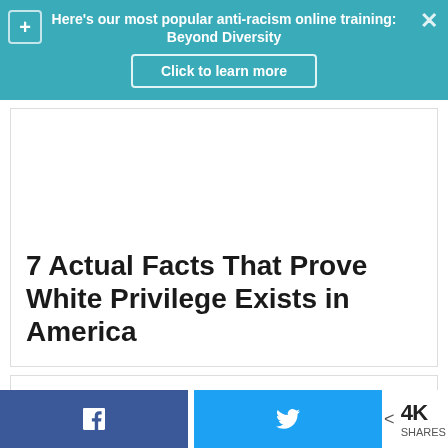Here's our most popular anti-racism online training: Beyond Diversity
Click to learn more
7 Actual Facts That Prove White Privilege Exists in America
4K SHARES